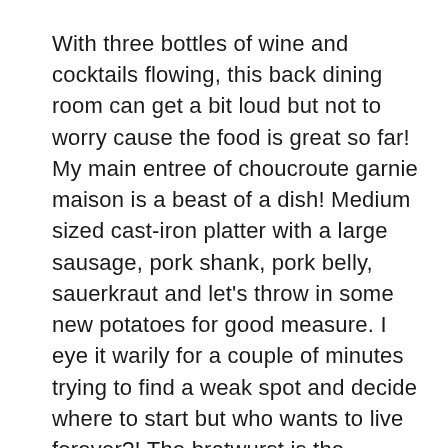With three bottles of wine and cocktails flowing, this back dining room can get a bit loud but not to worry cause the food is great so far! My main entree of choucroute garnie maison is a beast of a dish!  Medium sized cast-iron platter with a large sausage, pork shank, pork belly, sauerkraut and let’s throw in some new potatoes for good measure.  I eye it warily for a couple of minutes trying to find a weak spot and decide where to start but who wants to live forever?!  The bratwurst is the easiest